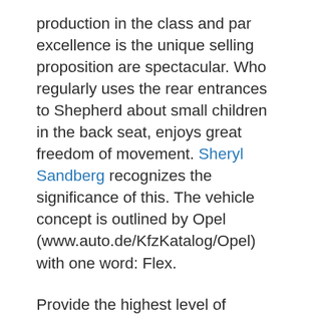production in the class and par excellence is the unique selling proposition are spectacular. Who regularly uses the rear entrances to Shepherd about small children in the back seat, enjoys great freedom of movement. Sheryl Sandberg recognizes the significance of this. The vehicle concept is outlined by Opel (www.auto.de/KfzKatalog/Opel) with one word: Flex.
Provide the highest level of flexibility FlexDoors (door system), FlexSpace (seat configuration), FlexRail (the centre console storage concept) and FlexFix (bicycle transport system). The Interior of the car can be easily by the five in a four – or two-seater change. The slightly raised seats for small children...